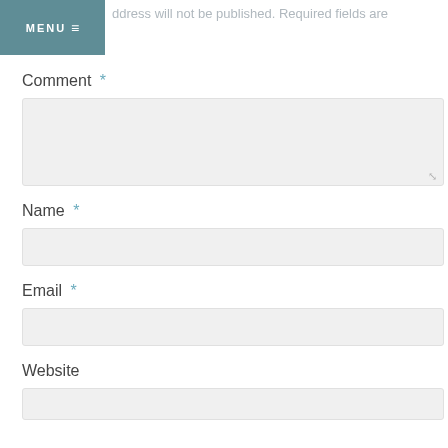MENU ≡
ddress will not be published. Required fields are
Comment *
Name *
Email *
Website